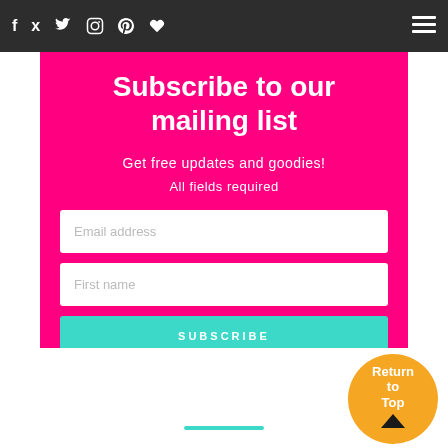f  twitter  instagram  pinterest  heart  ☰
Subscribe to our mailing list
Get free updates and goodies!
All fields required
Email address
First name
SUBSCRIBE
[Figure (logo): Return to Top circular badge with arrow icon on orange background]